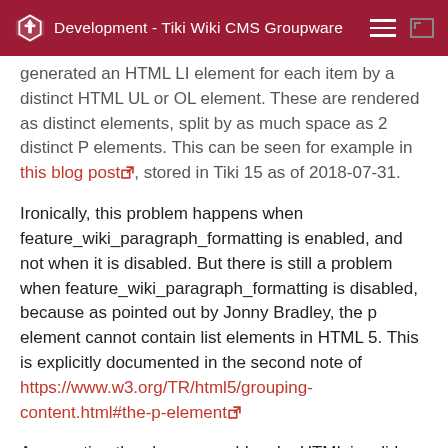Development - Tiki Wiki CMS Groupware
generated an HTML LI element for each item by a distinct HTML UL or OL element. These are rendered as distinct elements, split by as much space as 2 distinct P elements. This can be seen for example in this blog post, stored in Tiki 15 as of 2018-07-31.
Ironically, this problem happens when feature_wiki_paragraph_formatting is enabled, and not when it is disabled. But there is still a problem when feature_wiki_paragraph_formatting is disabled, because as pointed out by Jonny Bradley, the p element cannot contain list elements in HTML 5. This is explicitly documented in the second note of https://www.w3.org/TR/html5/grouping-content.html#the-p-element
As reverting the change would make HTML invalid, the proper solution would be to either hack some CSS which